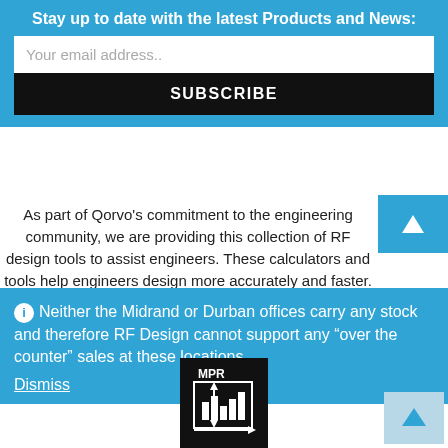Stay up to date with the latest Products and News:
Your email address..
SUBSCRIBE
As part of Qorvo’s commitment to the engineering community, we are providing this collection of RF design tools to assist engineers. These calculators and tools help engineers design more accurately and faster. This page contains a mixture of web-based tools and downloadable Windows software. The online calculators are
Neither the Midrand or Durban offices carry any stock and therefore RF Design cannot support any “over the counter” sales at these locations.
Dismiss
[Figure (logo): MPR icon with bar chart and arrow graphic on black background]